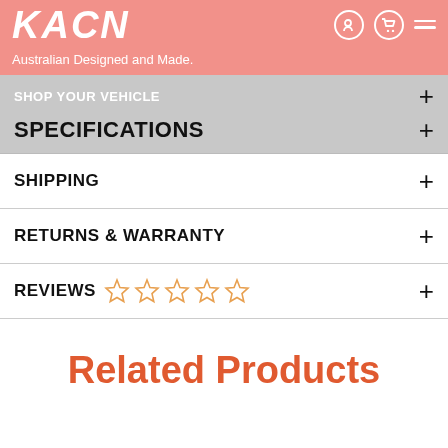KACN - Australian Designed and Made.
SHOP YOUR VEHICLE
SPECIFICATIONS
SHIPPING
RETURNS & WARRANTY
REVIEWS ☆☆☆☆☆
Related Products